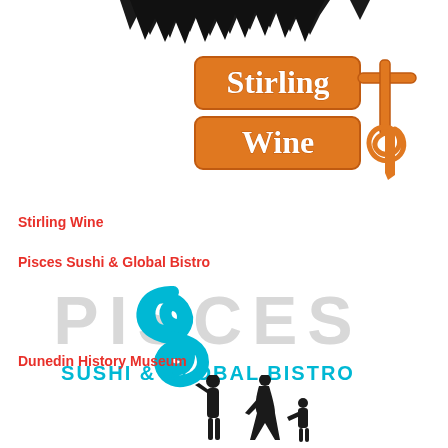[Figure (logo): Partial black jagged/spiky shape at top of page, appears to be bottom of a logo cut off]
[Figure (logo): Stirling Wine logo with orange stylized text 'Stirling Wine' and a corkscrew/wine opener icon on the right]
Stirling Wine
Pisces Sushi & Global Bistro
[Figure (logo): Pisces Sushi & Global Bistro logo with cyan S-shaped fish symbol, light gray PISCES text watermark behind, and bold cyan 'SUSHI & GLOBAL BISTRO' text below]
Dunedin History Museum
[Figure (illustration): Black silhouettes of a family: a man standing, a woman leaning, and a small child, suggesting a museum or history theme]